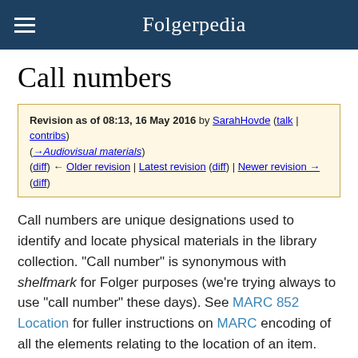Folgerpedia
Call numbers
Revision as of 08:13, 16 May 2016 by SarahHovde (talk | contribs) (→Audiovisual materials) (diff) ← Older revision | Latest revision (diff) | Newer revision → (diff)
Call numbers are unique designations used to identify and locate physical materials in the library collection. "Call number" is synonymous with shelfmark for Folger purposes (we're trying always to use "call number" these days). See MARC 852 Location for fuller instructions on MARC encoding of all the elements relating to the location of an item. Call numbers are distinct from Accession numbers, but because many derive from six-digit accession numbers, they are easily confused. Changes to call numbers are best avoided, but will be made in exceptional circumstances. See List of call number changes for known updates.